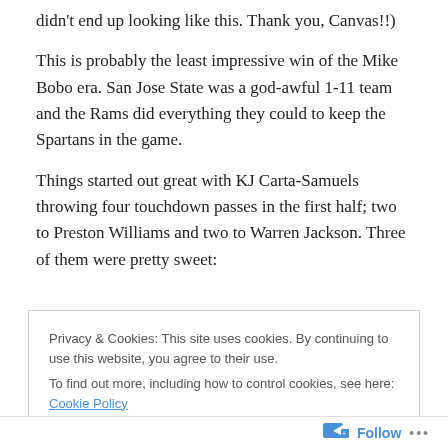didn't end up looking like this. Thank you, Canvas!!)
This is probably the least impressive win of the Mike Bobo era. San Jose State was a god-awful 1-11 team and the Rams did everything they could to keep the Spartans in the game.
Things started out great with KJ Carta-Samuels throwing four touchdown passes in the first half; two to Preston Williams and two to Warren Jackson. Three of them were pretty sweet:
Privacy & Cookies: This site uses cookies. By continuing to use this website, you agree to their use.
To find out more, including how to control cookies, see here: Cookie Policy
Close and accept
Follow ...